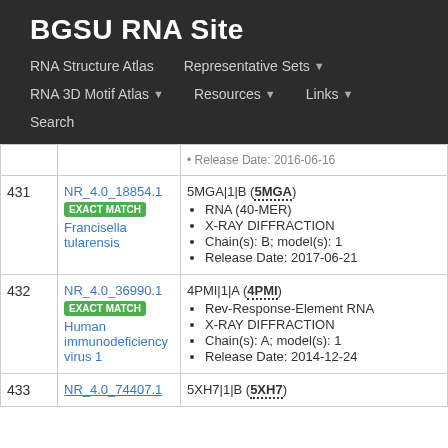BGSU RNA Site
RNA Structure Atlas | Representative Sets | RNA 3D Motif Atlas | Resources | Links | Search
| # | ID / Match | Details |
| --- | --- | --- |
|  |  | Release Date: 2016-06-16 |
| 431 | NR_4.0_18854.1 EXACT MATCH Francisella tularensis | 5MGA|1|B (5MGA) • RNA (40-MER) • X-RAY DIFFRACTION • Chain(s): B; model(s): 1 • Release Date: 2017-06-21 |
| 432 | NR_4.0_36990.1 EXACT MATCH Human immunodeficiency virus 1 | 4PMI|1|A (4PMI) • Rev-Response-Element RNA • X-RAY DIFFRACTION • Chain(s): A; model(s): 1 • Release Date: 2014-12-24 |
| 433 | NR_4.0_74407.1 | 5XH7|1|B (5XH7) |